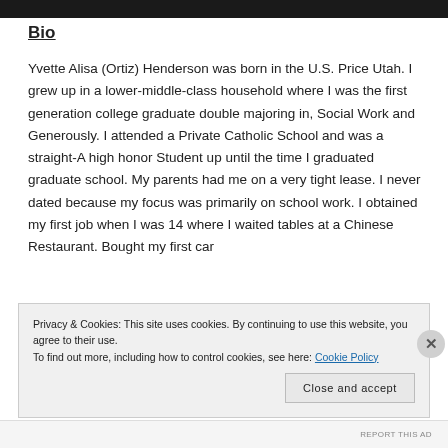Bio
Yvette Alisa (Ortiz) Henderson was born in the U.S. Price Utah. I grew up in a lower-middle-class household where I was the first generation college graduate double majoring in, Social Work and Generously. I attended a Private Catholic School and was a straight-A high honor Student up until the time I graduated graduate school. My parents had me on a very tight lease. I never dated because my focus was primarily on school work. I obtained my first job when I was 14 where I waited tables at a Chinese Restaurant. Bought my first car
Privacy & Cookies: This site uses cookies. By continuing to use this website, you agree to their use.
To find out more, including how to control cookies, see here: Cookie Policy
Close and accept